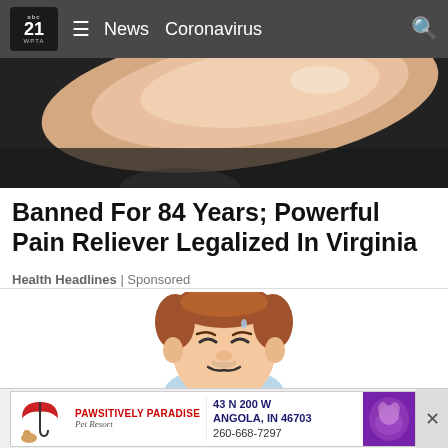abc21 WPTA  ≡  News  Coronavirus
[Figure (photo): Close-up photo of a finger/skin against dark background]
Banned For 84 Years; Powerful Pain Reliever Legalized In Virginia
Health Headlines | Sponsored
[Figure (illustration): Cartoon illustration of a sad/pained person with reddish-brown hair wearing a light blue shirt]
[Figure (other): Advertisement banner: PAWSITIVELY PARADISE Pet Resort, 43 N 200 W, ANGOLA, IN 46703, 260-668-7297]